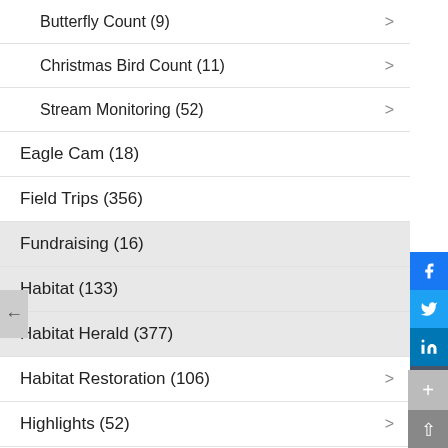Butterfly Count (9)
Christmas Bird Count (11)
Stream Monitoring (52)
Eagle Cam (18)
Field Trips (356)
Fundraising (16)
Habitat (133)
Habitat Herald (377)
Habitat Restoration (106)
Highlights (52)
JK Black Oak Wildlife Sanctuary (33)
Loudoun Wildlife Conservancy (70)